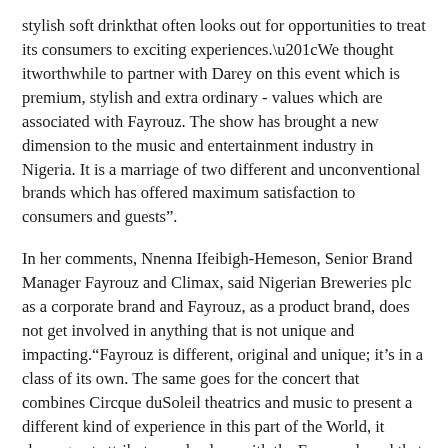stylish soft drinkthat often looks out for opportunities to treat its consumers to exciting experiences.“We thought itworthwhile to partner with Darey on this event which is premium, stylish and extra ordinary - values which are associated with Fayrouz. The show has brought a new dimension to the music and entertainment industry in Nigeria. It is a marriage of two different and unconventional brands which has offered maximum satisfaction to consumers and guests”.
In her comments, Nnenna Ifeibigh-Hemeson, Senior Brand Manager Fayrouz and Climax, said Nigerian Breweries plc as a corporate brand and Fayrouz, as a product brand, does not get involved in anything that is not unique and impacting.“Fayrouz is different, original and unique; it’s in a class of its own. The same goes for the concert that combines Circque duSoleil theatrics and music to present a different kind of experience in this part of the World, it sharesgreat attributes and values with the Fayrouz brand that was why we decided to partner Darey on the show. It is indeed a lifelong experience and we are excited to have been part of it”.
She added that the event also provided theplatform to share the brand’s new innovation with consumers through the introduction of